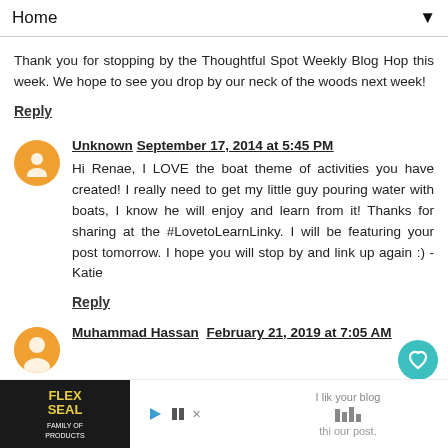Home ▼
Thank you for stopping by the Thoughtful Spot Weekly Blog Hop this week. We hope to see you drop by our neck of the woods next week!
Reply
Unknown  September 17, 2014 at 5:45 PM
Hi Renae, I LOVE the boat theme of activities you have created! I really need to get my little guy pouring water with boats, I know he will enjoy and learn from it! Thanks for sharing at the #LovetoLearnLinky. I will be featuring your post tomorrow. I hope you will stop by and link up again :) -Katie
Reply
Muhammad Hassan  February 21, 2019 at 7:05 AM